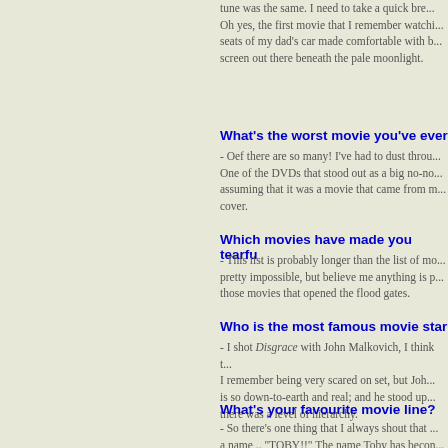tune was the same. I need to take a quick bre... Oh yes, the first movie that I remember watchi... seats of my dad's car made comfortable with b... screen out there beneath the pale moonlight.
What's the worst movie you've ever
- Oef there are so many! I've had to dust throu... One of the DVDs that stood out as a big no-no... assuming that it was a movie that came from m... cover.
Which movies have made you tearfu
- This list is probably longer than the list of mo... pretty impossible, but believe me anything is p... those movies that opened the flood gates.
Who is the most famous movie star
- I shot Disgrace with John Malkovich, I think t... I remember being very scared on set, but Joh... is so down-to-earth and real; and he stood up... there was a level of hierarchy.
What's your favourite movie line?
- So there's one thing that I always shout that ... a name .. "TOBY!!" The name Toby has becon...